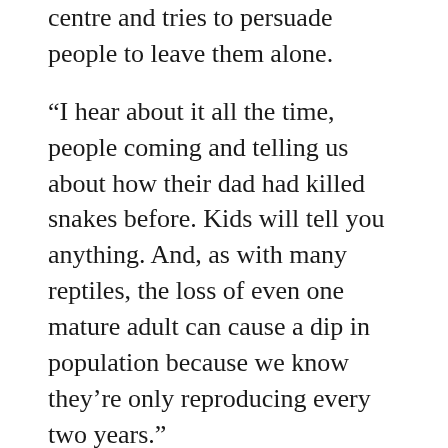centre and tries to persuade people to leave them alone.
“I hear about it all the time, people coming and telling us about how their dad had killed snakes before. Kids will tell you anything. And, as with many reptiles, the loss of even one mature adult can cause a dip in population because we know they’re only reproducing every two years.”
There’s a lot of effort to help this snake. Culverts are dug under highways to give them a safe route back and forth. There are road signs that say, “Please brake for snakes.” There’s even an adopt-a